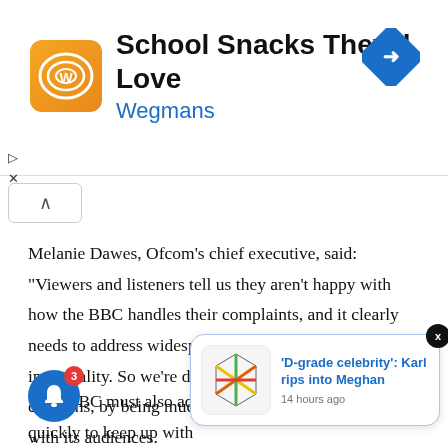[Figure (infographic): Advertisement banner: Wegmans 'School Snacks They'll Love' with orange logo and navigation arrow icon]
Melanie Dawes, Ofcom's chief executive, said: “Viewers and listeners tell us they aren’t happy with how the BBC handles their complaints, and it clearly needs to address widespread perceptions about its impartiality. So we’re directing it to respond to these concerns, by being much more transparent and open with its audiences.
“The BBC must also adapt quickly to keep up with changes in what… content. We’re… tion so th… the digital age.”
[Figure (screenshot): Notification popup: 'D-grade celebrity': Karl rips into Meghan - 14 hours ago, with Sabi News logo thumbnail]
[Figure (infographic): Blue bell notification button with badge showing 3 notifications]